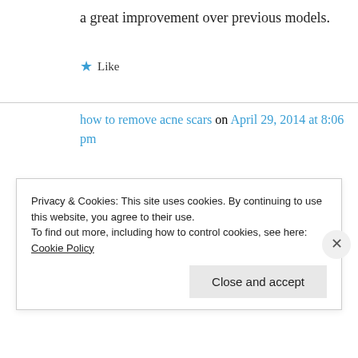a great improvement over previous models.
★ Like
how to remove acne scars on April 29, 2014 at 8:06 pm
Thanks for writing this great top quality articles. The information in this material confirms my point of view and you truly laid it out well. I could never have written an article this
Privacy & Cookies: This site uses cookies. By continuing to use this website, you agree to their use.
To find out more, including how to control cookies, see here: Cookie Policy
Close and accept